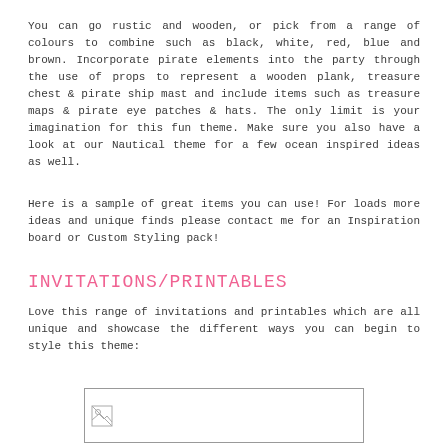You can go rustic and wooden, or pick from a range of colours to combine such as black, white, red, blue and brown. Incorporate pirate elements into the party through the use of props to represent a wooden plank, treasure chest & pirate ship mast and include items such as treasure maps & pirate eye patches & hats. The only limit is your imagination for this fun theme. Make sure you also have a look at our Nautical theme for a few ocean inspired ideas as well.
Here is a sample of great items you can use! For loads more ideas and unique finds please contact me for an Inspiration board or Custom Styling pack!
INVITATIONS/PRINTABLES
Love this range of invitations and printables which are all unique and showcase the different ways you can begin to style this theme:
[Figure (photo): An image placeholder with a small broken image icon in the bottom left area, bordered rectangle]